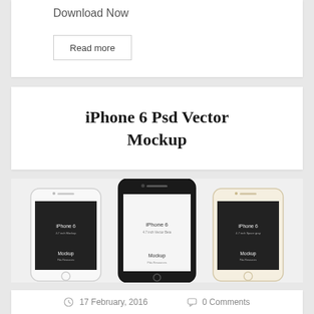Download Now
Read more
iPhone 6 Psd Vector Mockup
[Figure (photo): Three iPhone 6 mockup designs shown side by side: left is white with dark screen showing iPhone 6 4.7 inch Mockup, center is black iPhone 6 with white screen showing iPhone 6 4.7 inch Vector Beta, right is white iPhone 6 with dark screen showing iPhone 6 4.7 inch Space gray. All three have Mockup Pda Resources label.]
17 February, 2016  0 Comments